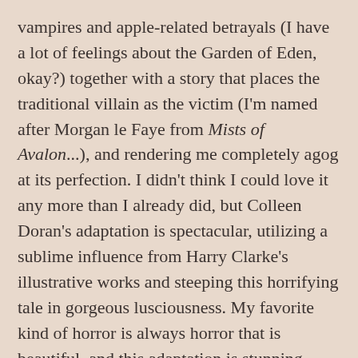vampires and apple-related betrayals (I have a lot of feelings about the Garden of Eden, okay?) together with a story that places the traditional villain as the victim (I'm named after Morgan le Faye from Mists of Avalon...), and rendering me completely agog at its perfection. I didn't think I could love it any more than I already did, but Colleen Doran's adaptation is spectacular, utilizing a sublime influence from Harry Clarke's illustrative works and steeping this horrifying tale in gorgeous lusciousness. My favorite kind of horror is always horror that is beautiful, and this adaptation is stunning from the lines to the colors and everything in-between. I cannot recommend it enough.
[Figure (other): Broken image placeholder with label 'parasytehugeappetite']
Parasyte, Volumes 1 & 2, by Hitoshi Iwaki — published by Kodansha Comics
I admittedly came to this manga really late! It was one of